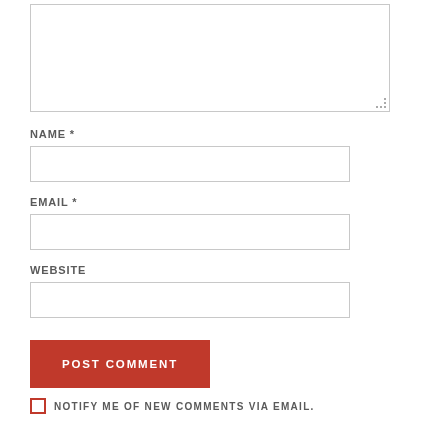[Figure (screenshot): Comment textarea input box with resize handle in bottom right corner]
NAME *
[Figure (screenshot): Name text input field, empty]
EMAIL *
[Figure (screenshot): Email text input field, empty]
WEBSITE
[Figure (screenshot): Website text input field, empty]
[Figure (screenshot): Red POST COMMENT button]
NOTIFY ME OF NEW COMMENTS VIA EMAIL.